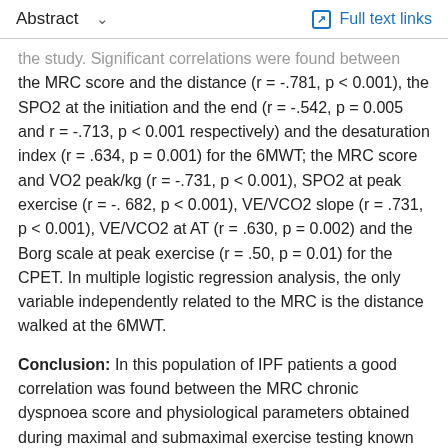Abstract  ∨    Full text links
the study. Significant correlations were found between the MRC score and the distance (r = -.781, p < 0.001), the SPO2 at the initiation and the end (r = -.542, p = 0.005 and r = -.713, p < 0.001 respectively) and the desaturation index (r = .634, p = 0.001) for the 6MWT; the MRC score and VO2 peak/kg (r = -.731, p < 0.001), SPO2 at peak exercise (r = -. 682, p < 0.001), VE/VCO2 slope (r = .731, p < 0.001), VE/VCO2 at AT (r = .630, p = 0.002) and the Borg scale at peak exercise (r = .50, p = 0.01) for the CPET. In multiple logistic regression analysis, the only variable independently related to the MRC is the distance walked at the 6MWT.
Conclusion: In this population of IPF patients a good correlation was found between the MRC chronic dyspnoea score and physiological parameters obtained during maximal and submaximal exercise testing known to reflect ventilatory impairment and exercise limitation as